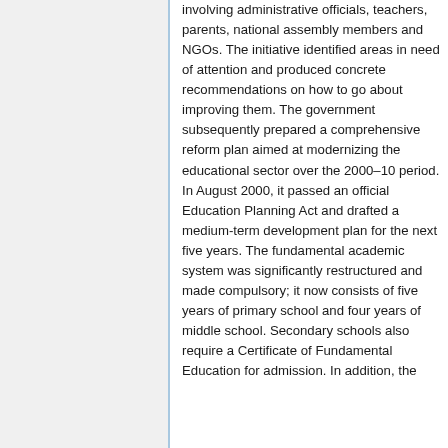involving administrative officials, teachers, parents, national assembly members and NGOs. The initiative identified areas in need of attention and produced concrete recommendations on how to go about improving them. The government subsequently prepared a comprehensive reform plan aimed at modernizing the educational sector over the 2000–10 period. In August 2000, it passed an official Education Planning Act and drafted a medium-term development plan for the next five years. The fundamental academic system was significantly restructured and made compulsory; it now consists of five years of primary school and four years of middle school. Secondary schools also require a Certificate of Fundamental Education for admission. In addition, the